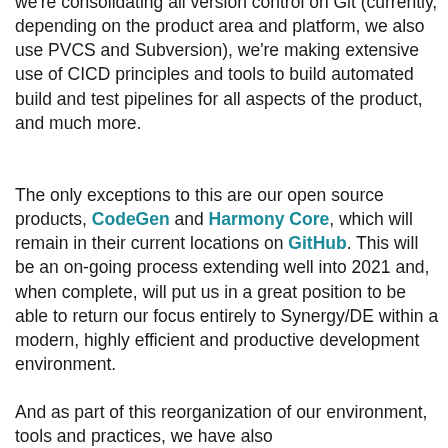we're consolidating all version control on Git (currently, depending on the product area and platform, we also use PVCS and Subversion), we're making extensive use of CICD principles and tools to build automated build and test pipelines for all aspects of the product, and much more.
The only exceptions to this are our open source products, CodeGen and Harmony Core, which will remain in their current locations on GitHub. This will be an on-going process extending well into 2021 and, when complete, will put us in a great position to be able to return our focus entirely to Synergy/DE within a modern, highly efficient and productive development environment.
And as part of this reorganization of our environment, tools and practices, we have also